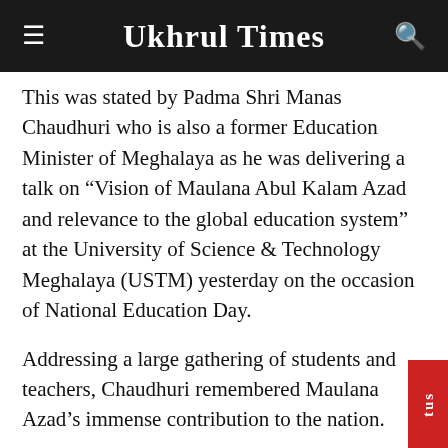Ukhrul Times
This was stated by Padma Shri Manas Chaudhuri who is also a former Education Minister of Meghalaya as he was delivering a talk on “Vision of Maulana Abul Kalam Azad and relevance to the global education system” at the University of Science & Technology Meghalaya (USTM) yesterday on the occasion of National Education Day.
Addressing a large gathering of students and teachers, Chaudhuri remembered Maulana Azad’s immense contribution to the nation.
He also expressed his happiness to speak on the occasion at USTM and praised the visionary leadership of M Hoque, Chancellor of the